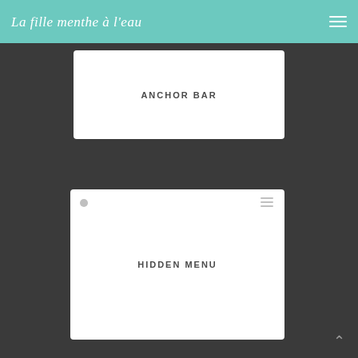La fille menthe à l'eau
ANCHOR BAR
[Figure (screenshot): Browser-style card with a circle icon and hamburger lines icon, containing the text HIDDEN MENU]
HIDDEN MENU